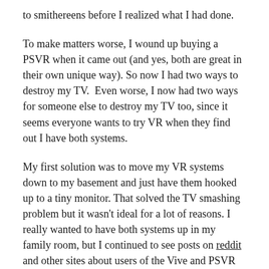to smithereens before I realized what I had done.
To make matters worse, I wound up buying a PSVR when it came out (and yes, both are great in their own unique way). So now I had two ways to destroy my TV.  Even worse, I now had two ways for someone else to destroy my TV too, since it seems everyone wants to try VR when they find out I have both systems.
My first solution was to move my VR systems down to my basement and just have them hooked up to a tiny monitor. That solved the TV smashing problem but it wasn't ideal for a lot of reasons. I really wanted to have both systems up in my family room, but I continued to see posts on reddit and other sites about users of the Vive and PSVR smashing their TV, or their friend's TV, so I just kept everything in the basement until I could figure something out.